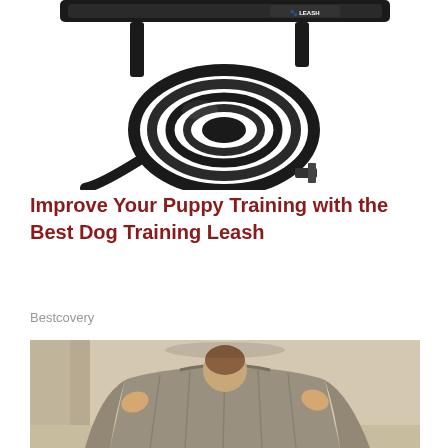[Figure (photo): Close-up photo of a black dog training leash coiled and bundled, with a Leash Boss branded collar/leash visible at the top on a white background.]
Improve Your Puppy Training with the Best Dog Training Leash
Bestcovery
[Figure (photo): Photo of a child or person holding up a large gray/khaki knit blanket or sweater in front of their face, standing outdoors with a wall and pillar in the background.]